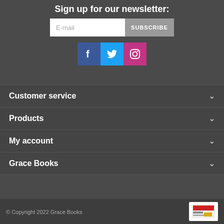Sign up for our newsletter:
[Figure (screenshot): Email subscription form with E-mail input field and SUBSCRIBE button]
[Figure (illustration): Social media icons: Facebook (blue), Twitter (light blue), Instagram (pink/magenta)]
Customer service
Products
My account
Grace Books
© Copyright 2022 Grace Books